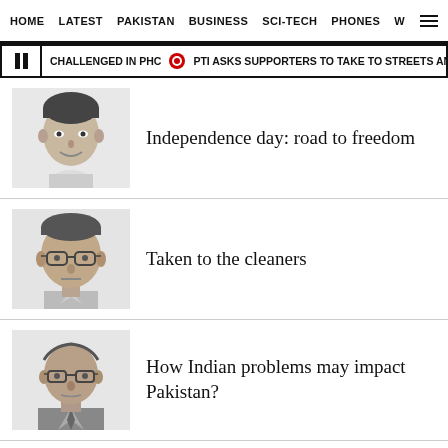HOME  LATEST  PAKISTAN  BUSINESS  SCI-TECH  PHONES  W
CHALLENGED IN PHC  PTI ASKS SUPPORTERS TO TAKE TO STREETS AMID POSSIB...
Independence day: road to freedom
Taken to the cleaners
How Indian problems may impact Pakistan?
Revisiting Afghanistan — a year after